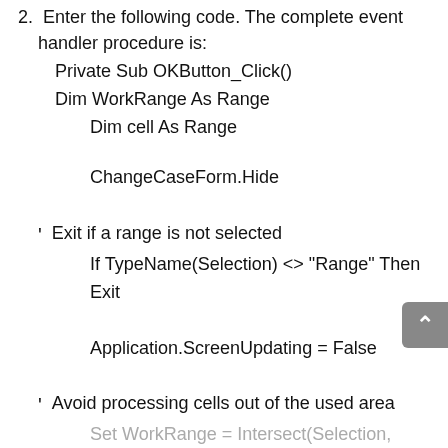2. Enter the following code. The complete event handler procedure is:
Private Sub OKButton_Click()
Dim WorkRange As Range
    Dim cell As Range

    ChangeCaseForm.Hide

'   Exit if a range is not selected
    If TypeName(Selection) <> "Range" Then Exit

    Application.ScreenUpdating = False

'   Avoid processing cells out of the used area
    Set WorkRange = Intersect(Selection, ActiveSh